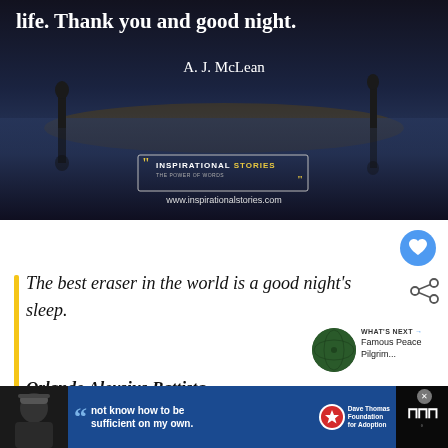[Figure (photo): Dark inspirational quote image with silhouettes reflected in water. Text reads 'life. Thank you and good night.' attributed to A. J. McLean. Branded with Inspirational Stories logo and www.inspirationalstories.com]
The best eraser in the world is a good night's sleep.
Orlando Aloysius Battista
WHAT'S NEXT → Famous Peace Pilgrim...
[Figure (photo): Advertisement banner: person in beanie hat, quote about not knowing how to be sufficient on my own, Dave Thomas Foundation for Adoption logo, Tidal music app icon]